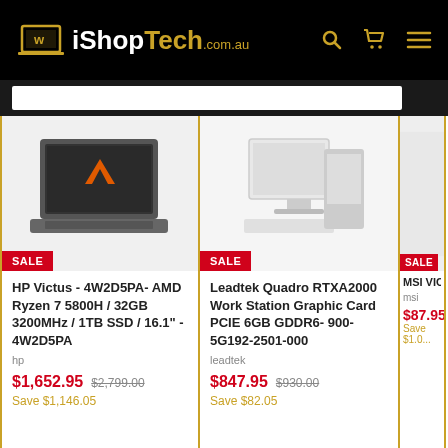[Figure (logo): iShopTech.com.au logo on black header with search, cart, and menu icons]
[Figure (photo): HP Victus gaming laptop product photo with SALE badge]
HP Victus - 4W2D5PA- AMD Ryzen 7 5800H / 32GB 3200MHz / 1TB SSD / 16.1" - 4W2D5PA
hp
$1,652.95  $2,799.00
Save $1,146.05
[Figure (photo): Leadtek Quadro RTXA2000 workstation graphics card product photo with SALE badge]
Leadtek Quadro RTXA2000 Work Station Graphic Card PCIE 6GB GDDR6- 900-5G192-2501-000
leadtek
$847.95  $930.00
Save $82.05
[Figure (photo): Partial view of MSI VIC COMBO KEYBOARD product with SALE badge]
MSI VIC COMBO KEYBOA...
msi
$87.95
Save $1.0...